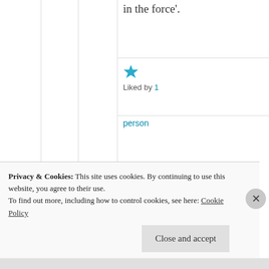in the force'.
[Figure (illustration): Blue star icon (liked button)]
Liked by 1 person
[Figure (illustration): Round avatar with pink/magenta geometric diamond pattern]
mosckerr
July 15, 202
Privacy & Cookies: This site uses cookies. By continuing to use this website, you agree to their use.
To find out more, including how to control cookies, see here: Cookie Policy
Close and accept